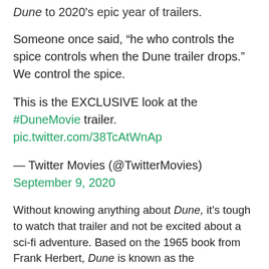Dune to 2020's epic year of trailers.
Someone once said, “he who controls the spice controls when the Dune trailer drops.” We control the spice.
This is the EXCLUSIVE look at the #DuneMovie trailer. pic.twitter.com/38TcAtWnAp
— Twitter Movies (@TwitterMovies) September 9, 2020
Without knowing anything about Dune, it’s tough to watch that trailer and not be excited about a sci-fi adventure. Based on the 1965 book from Frank Herbert, Dune is known as the “grandfather of science fiction.” It inspired